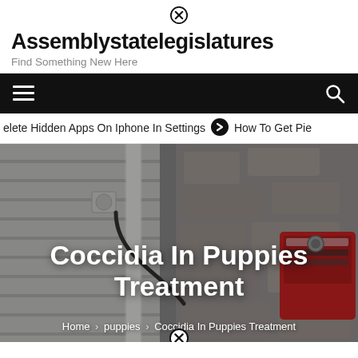[Figure (logo): Close/X circle icon at top center]
Assemblystatelegislatures
Find Something New Here
[Figure (screenshot): Black navigation bar with hamburger menu on left and search icon on right]
elete Hidden Apps On Iphone In Settings  ➔  How To Get Pie
[Figure (photo): Hero image showing an outdoor generator plugged in near a stone wall and siding, with overlay title 'Coccidia In Puppies Treatment' and breadcrumb navigation]
Coccidia In Puppies Treatment
Home > puppies > Coccidia In Puppies Treatment